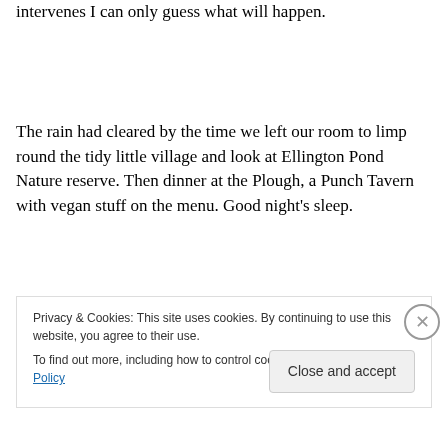intervenes I can only guess what will happen.
The rain had cleared by the time we left our room to limp round the tidy little village and look at Ellington Pond Nature reserve. Then dinner at the Plough, a Punch Tavern with vegan stuff on the menu. Good night's sleep.
Day 3 Cresswell to Amble
Privacy & Cookies: This site uses cookies. By continuing to use this website, you agree to their use.
To find out more, including how to control cookies, see here: Cookie Policy